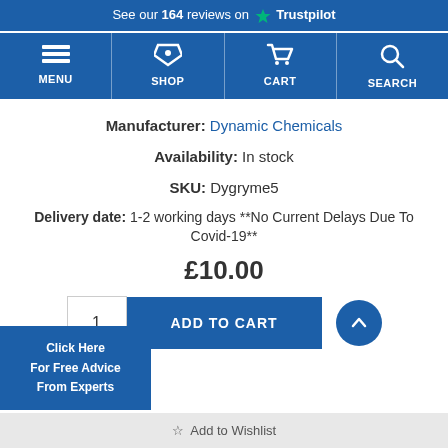See our 164 reviews on Trustpilot
[Figure (screenshot): Navigation bar with MENU, SHOP, CART, SEARCH icons on blue background]
Manufacturer: Dynamic Chemicals
Availability: In stock
SKU: Dygryme5
Delivery date: 1-2 working days **No Current Delays Due To Covid-19**
£10.00
ADD TO CART
Click Here For Free Advice From Experts
Add to Wishlist